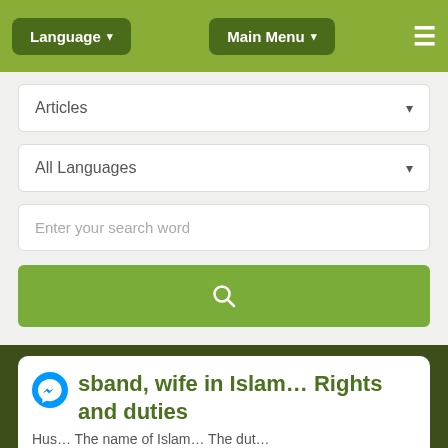Language ▾   Main Menu ▾   ≡
Articles ▾
All Languages ▾
Enter your search word
[Figure (screenshot): Green search button with magnifying glass icon]
sband, wife in Islam... Rights and duties